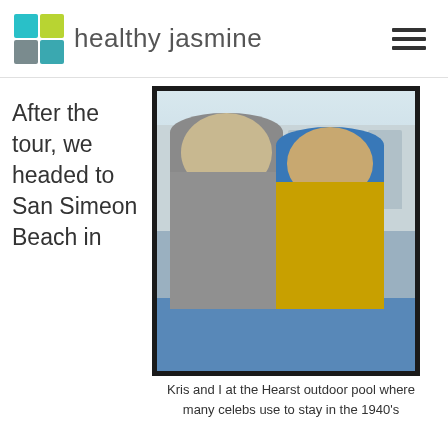healthy jasmine
After the tour, we headed to San Simeon Beach in
[Figure (photo): Two women smiling and posing together at the Hearst Castle outdoor pool area, with a classical colonnade structure visible in the background.]
Kris and I at the Hearst outdoor pool where many celebs use to stay in the 1940's